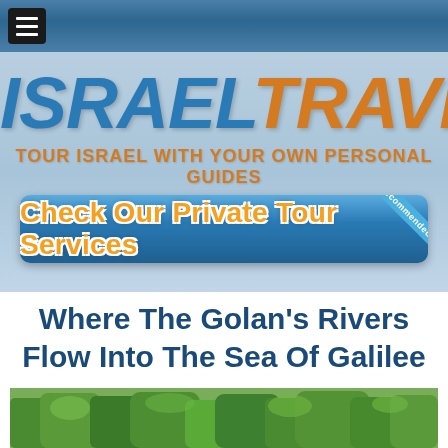Navigation menu bar
ISRAEL TRAVELS — TOUR ISRAEL WITH YOUR OWN PERSONAL GUIDES
[Figure (illustration): Blue button banner reading 'Check Our Private Tour Services' with orange text and a 'Recommended' ribbon badge in the top right corner]
Where The Golan's Rivers Flow Into The Sea Of Galilee
[Figure (photo): Landscape photo showing lush green trees and vegetation, likely in the Golan Heights region near the Sea of Galilee]